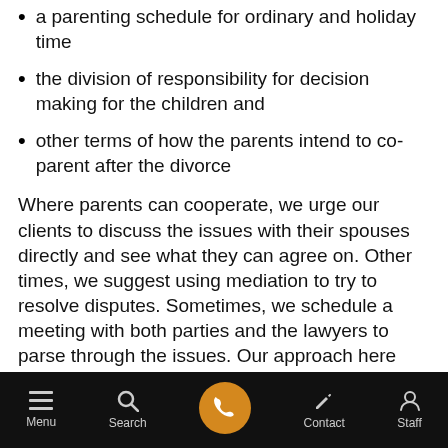a parenting schedule for ordinary and holiday time
the division of responsibility for decision making for the children and
other terms of how the parents intend to co-parent after the divorce
Where parents can cooperate, we urge our clients to discuss the issues with their spouses directly and see what they can agree on. Other times, we suggest using mediation to try to resolve disputes. Sometimes, we schedule a meeting with both parties and the lawyers to parse through the issues. Our approach here depends on the personalities, the level of conflict, whether there is any domestic violence, and other factors.
Menu  Search  [phone]  Contact  Staff